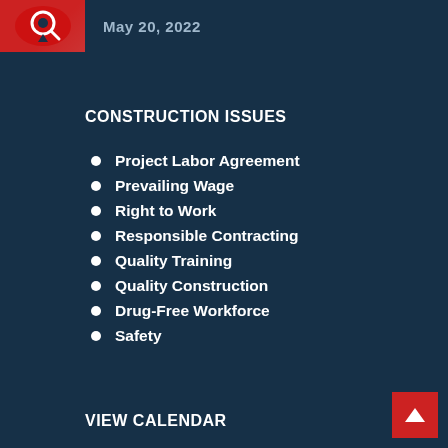[Figure (logo): Red circular logo with magnifying glass icon]
May 20, 2022
CONSTRUCTION ISSUES
Project Labor Agreement
Prevailing Wage
Right to Work
Responsible Contracting
Quality Training
Quality Construction
Drug-Free Workforce
Safety
VIEW CALENDAR